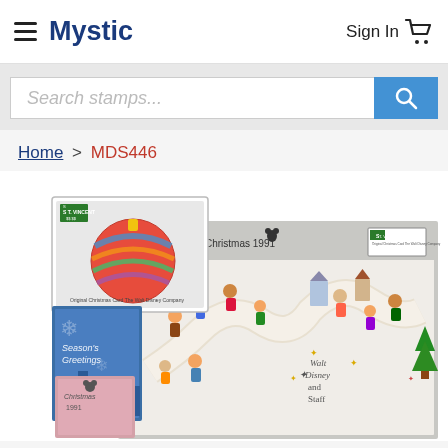Mystic   Sign In
Search stamps...
Home > MDS446
[Figure (photo): Product photo showing St. Vincent Christmas 1991 Disney stamp souvenir sheet and related philatelic items including a large decorative Christmas ornament stamp, a Seasons Greetings booklet, a Christmas booklet, and a large souvenir sheet showing Walt Disney and Staff with small world children characters. St. Vincent $6 stamp visible.]